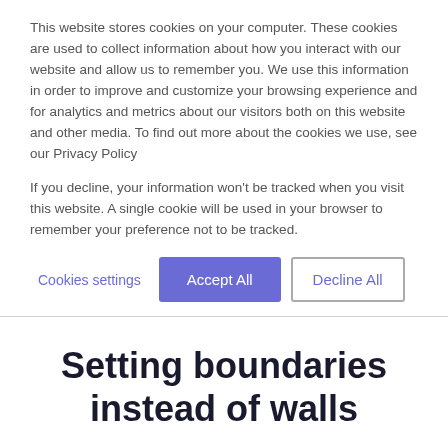This website stores cookies on your computer. These cookies are used to collect information about how you interact with our website and allow us to remember you. We use this information in order to improve and customize your browsing experience and for analytics and metrics about our visitors both on this website and other media. To find out more about the cookies we use, see our Privacy Policy
If you decline, your information won't be tracked when you visit this website. A single cookie will be used in your browser to remember your preference not to be tracked.
Cookies settings | Accept All | Decline All
Setting boundaries instead of walls
By Svea Landschoof